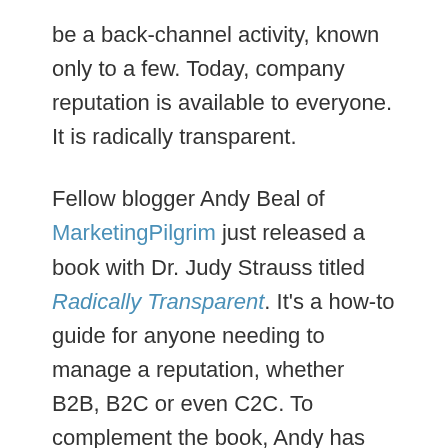be a back-channel activity, known only to a few. Today, company reputation is available to everyone. It is radically transparent.
Fellow blogger Andy Beal of MarketingPilgrim just released a book with Dr. Judy Strauss titled Radically Transparent. It's a how-to guide for anyone needing to manage a reputation, whether B2B, B2C or even C2C. To complement the book, Andy has launched a service called Trackur that can help you monitor and manage a reputation.